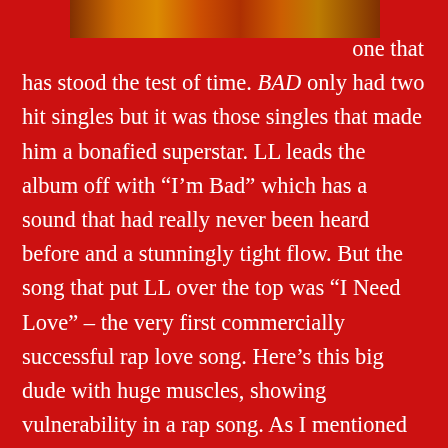[Figure (photo): Partial photo strip at top of page showing a person with decorative elements, cropped]
one that has stood the test of time. BAD only had two hit singles but it was those singles that made him a bonafied superstar. LL leads the album off with “I’m Bad” which has a sound that had really never been heard before and a stunningly tight flow. But the song that put LL over the top was “I Need Love” – the very first commercially successful rap love song. Here’s this big dude with huge muscles, showing vulnerability in a rap song. As I mentioned in the blurb for Radio, in the long run he went to the sensitive love song one too many times and that hurt him but at this point, we all ate this up, especially women. I don’t know if this is where the lip-licking started but it’s unfortunately impossible